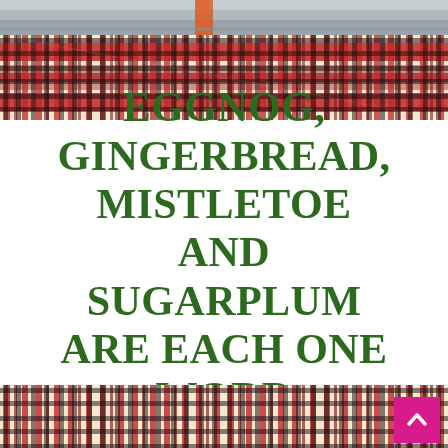[Figure (photo): Top strip showing partial view of a road or outdoor scene with gray tones and an orange stripe]
[Figure (photo): Red, black, and cream plaid/tartan fabric banner strip across the top portion]
EGGNOG, GINGERBREAD, MISTLETOE AND SUGARPLUM ARE EACH ONE WORD
[Figure (photo): Red, black, and cream plaid/tartan fabric banner strip across the bottom portion with a pink/magenta back-to-top arrow button in the bottom right corner]